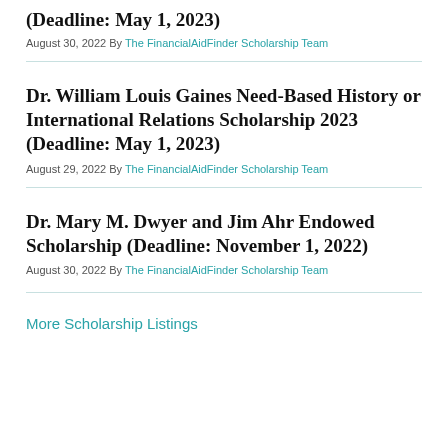(Deadline: May 1, 2023)
August 30, 2022 By The FinancialAidFinder Scholarship Team
Dr. William Louis Gaines Need-Based History or International Relations Scholarship 2023 (Deadline: May 1, 2023)
August 29, 2022 By The FinancialAidFinder Scholarship Team
Dr. Mary M. Dwyer and Jim Ahr Endowed Scholarship (Deadline: November 1, 2022)
August 30, 2022 By The FinancialAidFinder Scholarship Team
More Scholarship Listings